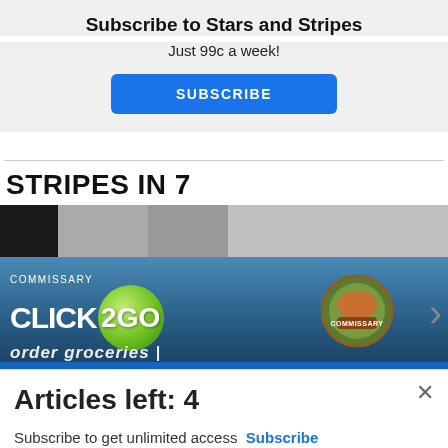Subscribe to Stars and Stripes
Just 99c a week!
SUBSCRIBE
STRIPES IN 7
[Figure (screenshot): Commissary Click2Go advertisement banner with green bubble logo and Commissary circular logo on blue gradient background, with text 'order groceries | PICKUP']
Articles left: 4
Subscribe to get unlimited access  Subscribe
Already have an account?  Login here